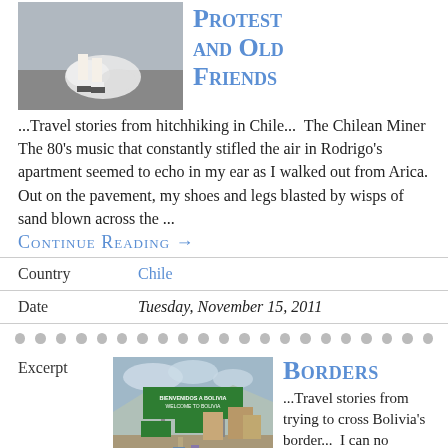[Figure (photo): Photo of a person's legs and feet walking on pavement with a cloud of smoke or dust nearby]
Protest and Old Friends
...Travel stories from hitchhiking in Chile...  The Chilean Miner  The 80's music that constantly stifled the air in Rodrigo's apartment seemed to echo in my ear as I walked out from Arica. Out on the pavement, my shoes and legs blasted by wisps of sand blown across the ...
Continue Reading →
| Country | Chile |
| --- | --- |
| Date | Tuesday, November 15, 2011 |
| --- | --- |
Excerpt
[Figure (photo): Photo of a Bolivian border crossing with a green sign reading BIENVENIDOS A BOLIVIA / WELCOME TO BOLIVIA and street scene]
Borders
...Travel stories from trying to cross Bolivia's border...  I can no longer swing my umbrella; it is